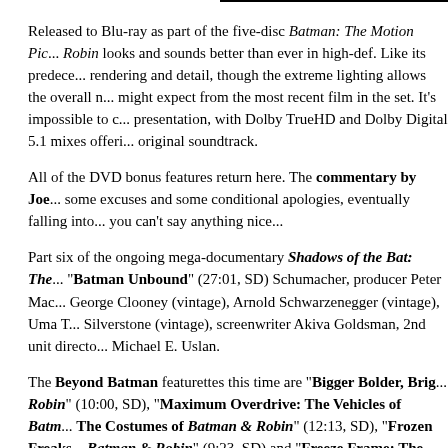Released to Blu-ray as part of the five-disc Batman: The Motion Picture Anthology, Batman & Robin looks and sounds better than ever in high-def. Like its predecessors, it has excellent rendering and detail, though the extreme lighting allows the overall m... might expect from the most recent film in the set. It's impossible to c... presentation, with Dolby TrueHD and Dolby Digital 5.1 mixes offeri... original soundtrack.
All of the DVD bonus features return here. The commentary by Joe... some excuses and some conditional apologies, eventually falling into... you can't say anything nice...
Part six of the ongoing mega-documentary Shadows of the Bat: The... "Batman Unbound" (27:01, SD) Schumacher, producer Peter Mac... George Clooney (vintage), Arnold Schwarzenegger (vintage), Uma T... Silverstone (vintage), screenwriter Akiva Goldsman, 2nd unit directo... Michael E. Uslan.
The Beyond Batman featurettes this time are "Bigger Bolder, Brig... Robin" (10:00, SD), "Maximum Overdrive: The Vehicles of Batm... The Costumes of Batman & Robin" (12:13, SD), "Frozen Freaks... Batman & Robin" (9:23, SD) and "Freeze Frame: The Visual Effe... Schumacher (contemporary and vintage), O'Donnell, production des... Clooney (vintage), Thurman (vintage), conceptual artist Ron Mende... Pike and Charley Zurian, illustrator Harald Belker, specialty costume...